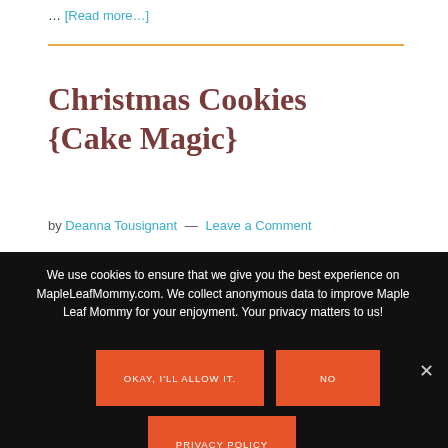… [Read more…]
Christmas Cookies {Cake Magic}
by Deanna Tousignant — Leave a Comment
We use cookies to ensure that we give you the best experience on MapleLeafMommy.com. We collect anonymous data to improve Maple Leaf Mommy for your enjoyment. Your privacy matters to us!
OKAY, I'LL ALLOW IT.
NO
PRIVACY POLICY